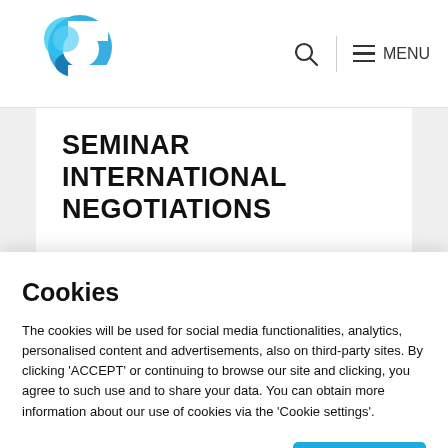[Figure (logo): Blue stylized bird/letter C logo for an organization]
MENU
SEMINAR INTERNATIONAL NEGOTIATIONS
[Figure (photo): Partial view of a light grey/white abstract or architectural image]
Cookies
The cookies will be used for social media functionalities, analytics, personalised content and advertisements, also on third-party sites. By clicking 'ACCEPT' or continuing to browse our site and clicking, you agree to such use and to share your data. You can obtain more information about our use of cookies via the 'Cookie settings'.
Cookie instellingen
Accepteren